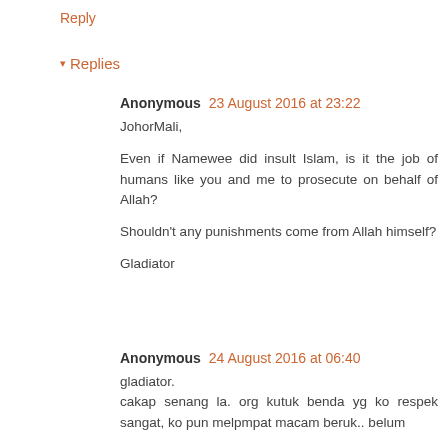Reply
▾ Replies
Anonymous 23 August 2016 at 23:22
JohorMali,

Even if Namewee did insult Islam, is it the job of humans like you and me to prosecute on behalf of Allah?

Shouldn't any punishments come from Allah himself?

Gladiator
Anonymous 24 August 2016 at 06:40
gladiator.
cakap senang la. org kutuk benda yg ko respek sangat, ko pun melpmpat macam beruk.. belum